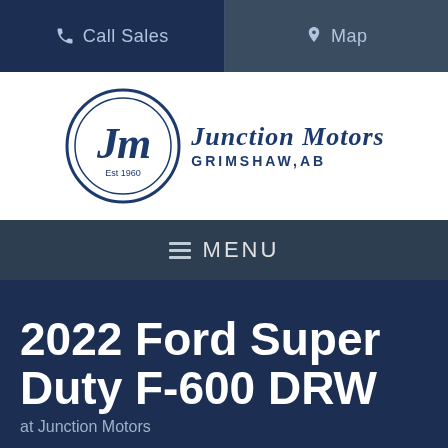Call Sales   Map
[Figure (logo): Junction Motors logo with circular Jm emblem and text 'Junction Motors GRIMSHAW,AB']
MENU
2022 Ford Super Duty F-600 DRW
at Junction Motors